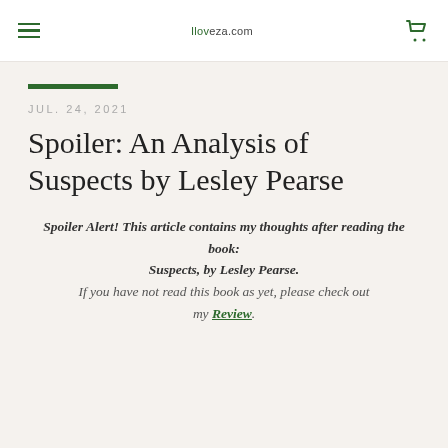Iloveza.com
Spoiler: An Analysis of Suspects by Lesley Pearse
JUL. 24, 2021
Spoiler Alert! This article contains my thoughts after reading the book: Suspects, by Lesley Pearse. If you have not read this book as yet, please check out my Review.